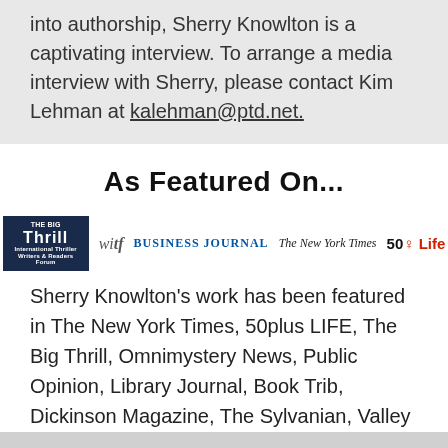into authorship, Sherry Knowlton is a captivating interview. To arrange a media interview with Sherry, please contact Kim Lehman at kalehman@ptd.net.
As Featured On...
[Figure (logo): Row of media logos: The Big Thrill, witf, Business Journal, The New York Times, 50 Life]
Sherry Knowlton's work has been featured in The New York Times, 50plus LIFE, The Big Thrill, Omnimystery News, Public Opinion, Library Journal, Book Trib, Dickinson Magazine, The Sylvanian, Valley Times Star, The Sentinel and Good Day PA.